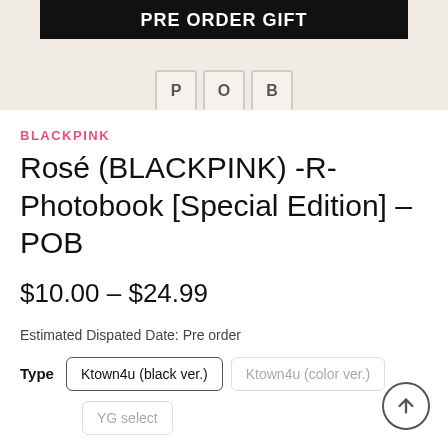[Figure (screenshot): Pre Order Gift banner with black background and white bold text 'PRE ORDER GIFT', with partial POB letter boxes at bottom on beige background]
BLACKPINK
Rosé (BLACKPINK) -R- Photobook [Special Edition] – POB
$10.00 – $24.99
Estimated Dispated Date: Pre order
Type   Ktown4u (black ver.)   Ktown4u (color ver.)   YG select